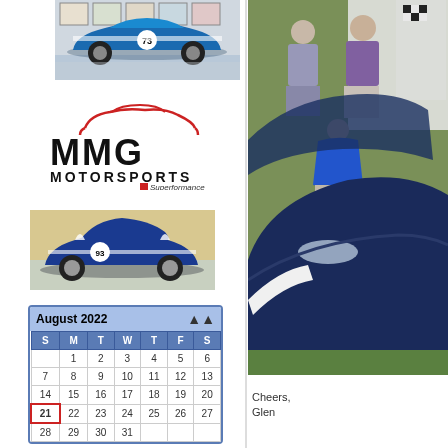[Figure (photo): Blue Ford GT40 race car with number 73, side profile view, displayed in a room with framed artwork on walls behind it]
[Figure (logo): MMG Motorsports logo with red car silhouette outline above block letters MMG MOTORSPORTS and Superformance logo below]
[Figure (photo): Blue and white Shelby Daytona Coupe race car with number 93, parked in front of a building]
| S | M | T | W | T | F | S |
| --- | --- | --- | --- | --- | --- | --- |
|  | 1 | 2 | 3 | 4 | 5 | 6 |
| 7 | 8 | 9 | 10 | 11 | 12 | 13 |
| 14 | 15 | 16 | 17 | 18 | 19 | 20 |
| 21 | 22 | 23 | 24 | 25 | 26 | 27 |
| 28 | 29 | 30 | 31 |  |  |  |
[Figure (photo): People looking at classic blue Shelby Cobra cars at an outdoor car show with checkered flags and tents in background]
Cheers,
Glen